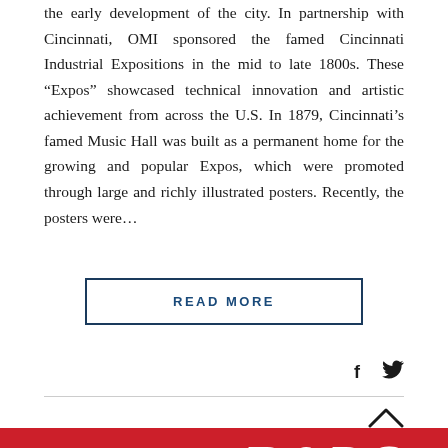the early development of the city. In partnership with Cincinnati, OMI sponsored the famed Cincinnati Industrial Expositions in the mid to late 1800s. These “Expos” showcased technical innovation and artistic achievement from across the U.S. In 1879, Cincinnati’s famed Music Hall was built as a permanent home for the growing and popular Expos, which were promoted through large and richly illustrated posters. Recently, the posters were…
READ MORE
[Figure (other): Social media icons: Facebook (f) and Twitter (bird) icons]
[Figure (other): Red banner at bottom showing partial text 'R&DS' in white bold letters]